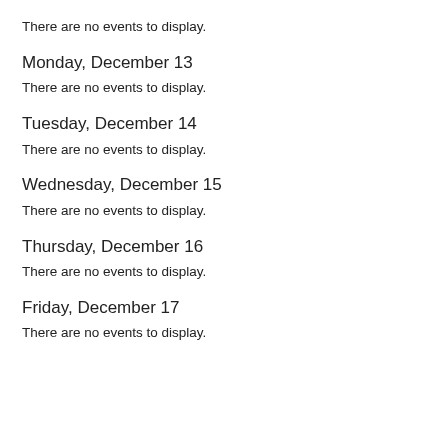There are no events to display.
Monday, December 13
There are no events to display.
Tuesday, December 14
There are no events to display.
Wednesday, December 15
There are no events to display.
Thursday, December 16
There are no events to display.
Friday, December 17
There are no events to display.